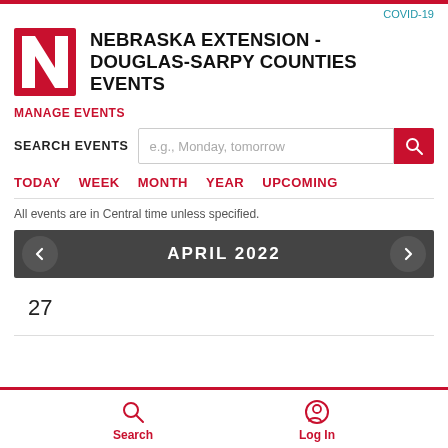COVID-19
NEBRASKA EXTENSION - DOUGLAS-SARPY COUNTIES EVENTS
MANAGE EVENTS
SEARCH EVENTS  e.g., Monday, tomorrow
TODAY  WEEK  MONTH  YEAR  UPCOMING
All events are in Central time unless specified.
APRIL 2022
27
Search  Log In